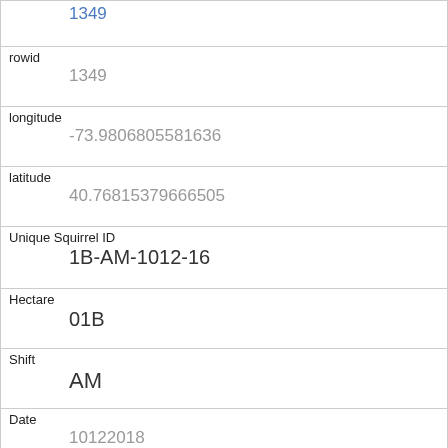| Field | Value |
| --- | --- |
| rowid | 1349 |
| longitude | -73.9806805581636 |
| latitude | 40.76815379666505 |
| Unique Squirrel ID | 1B-AM-1012-16 |
| Hectare | 01B |
| Shift | AM |
| Date | 10122018 |
| Hectare Squirrel Number | 16 |
| Age | Adult |
| Primary Fur Color | Gray |